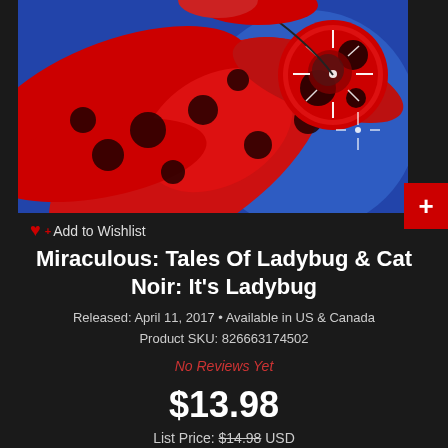[Figure (photo): Product image of Miraculous Ladybug animated character in red and black spotted suit, holding a yo-yo, with a blue background. The yo-yo has a sparkle/starburst effect on it.]
Add to Wishlist
Miraculous: Tales Of Ladybug & Cat Noir: It's Ladybug
Released: April 11, 2017 • Available in US & Canada
Product SKU: 826663174502
No Reviews Yet
$13.98
List Price: $14.98 USD